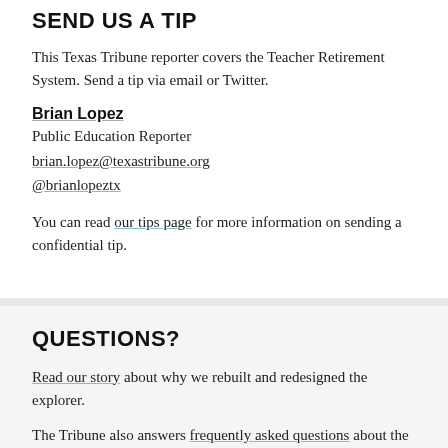SEND US A TIP
This Texas Tribune reporter covers the Teacher Retirement System. Send a tip via email or Twitter.
Brian Lopez
Public Education Reporter
brian.lopez@texastribune.org
@brianlopeztx
You can read our tips page for more information on sending a confidential tip.
QUESTIONS?
Read our story about why we rebuilt and redesigned the explorer.
The Tribune also answers frequently asked questions about the salaries data and shares our methodology.